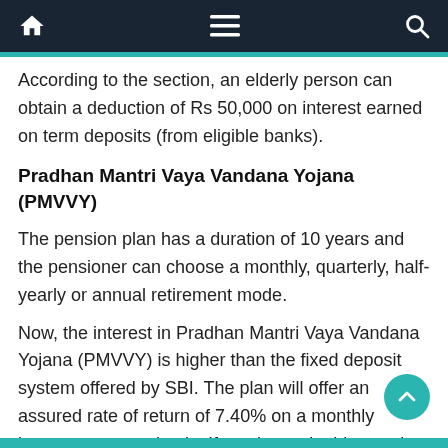Navigation bar with home, menu, and search icons
According to the section, an elderly person can obtain a deduction of Rs 50,000 on interest earned on term deposits (from eligible banks).
Pradhan Mantri Vaya Vandana Yojana (PMVVY)
The pension plan has a duration of 10 years and the pensioner can choose a monthly, quarterly, half-yearly or annual retirement mode.
Now, the interest in Pradhan Mantri Vaya Vandana Yojana (PMVVY) is higher than the fixed deposit system offered by SBI. The plan will offer an assured rate of return of 7.40% on a monthly interest payment basis. If you invest in this pension plan during the year, the return of 7.40% will be locked in for the full ten year term.